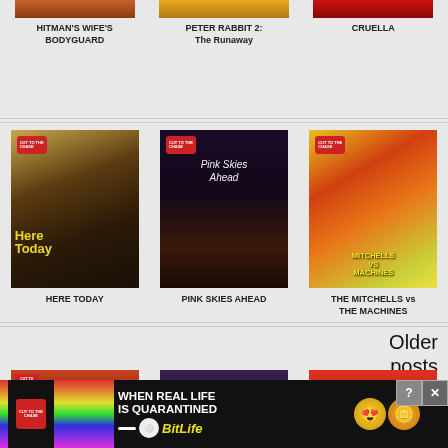[Figure (photo): Partial movie poster for Hitman's Wife's Bodyguard at top of page]
HITMAN'S WIFE'S BODYGUARD
[Figure (photo): Partial movie poster for Peter Rabbit 2: The Runaway at top of page]
PETER RABBIT 2: The Runaway
[Figure (photo): Partial movie poster for Cruella at top of page]
CRUELLA
[Figure (photo): Movie poster for Here Today showing two smiling people outdoors in autumn]
HERE TODAY
[Figure (photo): Movie poster for Pink Skies Ahead showing silhouette on car at night]
PINK SKIES AHEAD
[Figure (photo): Movie poster for The Mitchells vs The Machines animated film]
THE MITCHELLS vs THE MACHINES
Older posts
[Figure (photo): Partial movie poster visible at bottom left]
[Figure (photo): Partial movie poster visible at bottom center]
[Figure (photo): Partial movie poster visible at bottom right]
[Figure (infographic): BitLife advertisement banner: WHEN REAL LIFE IS QUARANTINED with rainbow stripe and emoji icons, help and close buttons]